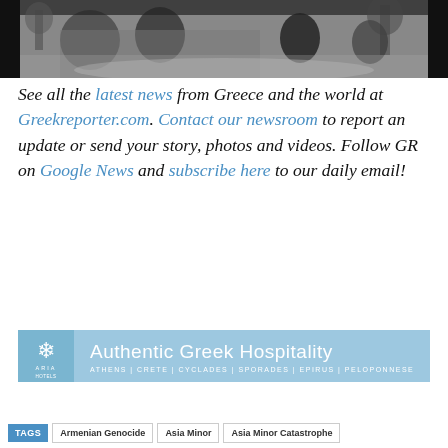[Figure (photo): Black and white photograph showing people in what appears to be an early automobile or carriage on a path, with trees in the background. Dark border on left and right sides.]
See all the latest news from Greece and the world at Greekreporter.com. Contact our newsroom to report an update or send your story, photos and videos. Follow GR on Google News and subscribe here to our daily email!
[Figure (infographic): Advertisement banner for ARIA Hotels: Authentic Greek Hospitality. Athens | Crete | Cyclades | Sporades | Epirus | Peloponnese. Blue background with white text and snowflake logo.]
TAGS  Armenian Genocide  Asia Minor  Asia Minor Catastrophe